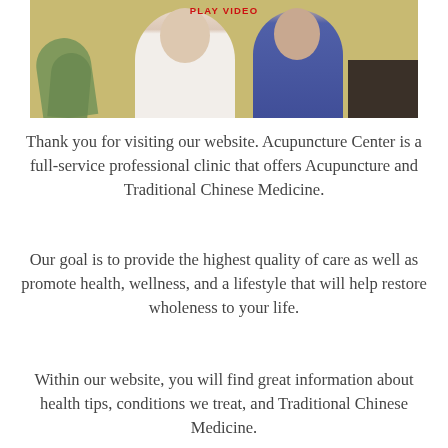[Figure (photo): Two people standing side by side in a clinic office setting with a yellow/tan wall and plant visible. A 'PLAY VIDEO' label appears at the top center of the image.]
Thank you for visiting our website. Acupuncture Center is a full-service professional clinic that offers Acupuncture and Traditional Chinese Medicine.
Our goal is to provide the highest quality of care as well as promote health, wellness, and a lifestyle that will help restore wholeness to your life.
Within our website, you will find great information about health tips, conditions we treat, and Traditional Chinese Medicine.